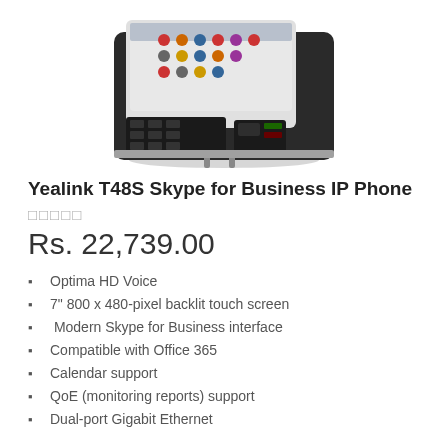[Figure (photo): Yealink T48S IP phone with large touchscreen display showing colorful buttons, keypad, and desk stand]
Yealink T48S Skype for Business IP Phone
★★★★★
Rs. 22,739.00
Optima HD Voice
7" 800 x 480-pixel backlit touch screen
Modern Skype for Business interface
Compatible with Office 365
Calendar support
QoE (monitoring reports) support
Dual-port Gigabit Ethernet